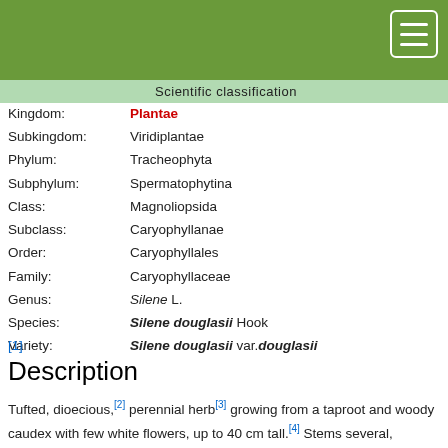[Figure (other): Green navigation header bar with hamburger menu button (three horizontal lines in white rectangle with rounded corners) in top-right corner]
| Rank | Name |
| --- | --- |
| Kingdom: | Plantae |
| Subkingdom: | Viridiplantae |
| Phylum: | Tracheophyta |
| Subphylum: | Spermatophytina |
| Class: | Magnoliopsida |
| Subclass: | Caryophyllanae |
| Order: | Caryophyllales |
| Family: | Caryophyllaceae |
| Genus: | Silene L. |
| Species: | Silene douglasii Hook |
| Variety: | Silene douglasii var.douglasii |
[1]
Description
Tufted, dioecious,[2] perennial herb[3] growing from a taproot and woody caudex with few white flowers, up to 40 cm tall.[4] Stems several, unbranched, slender, decumbent at base and ascending.[4] Basal leaves long-petiolate, oblanceolate to linear-lanceolate, to 5 cm long:[3] cauline